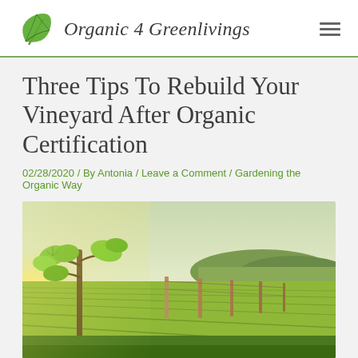Organic 4 Greenlivings
Three Tips To Rebuild Your Vineyard After Organic Certification
02/28/2020 / By Antonia / Leave a Comment / Gardening the Organic Way
[Figure (photo): A vineyard scene with grape vine in foreground with young green leaves, wooden posts, and rows of grapevines stretching across rolling green countryside under a bright sky.]